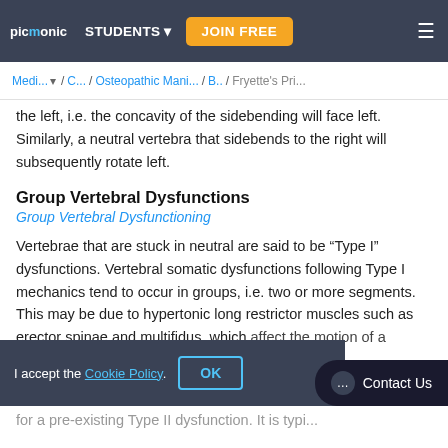picmonic | STUDENTS | JOIN FREE
Medi... / C... / Osteopathic Mani... / B.. / Fryette's Pri...
the left, i.e. the concavity of the sidebending will face left. Similarly, a neutral vertebra that sidebends to the right will subsequently rotate left.
Group Vertebral Dysfunctions
Group Vertebral Dysfunctioning
Vertebrae that are stuck in neutral are said to be “Type I” dysfunctions. Vertebral somatic dysfunctions following Type I mechanics tend to occur in groups, i.e. two or more segments. This may be due to hypertonic long restrictor muscles such as erector spinae and multifidus, which affect the motion of a
for a pre-existing Type II dysfunction. It is typi...